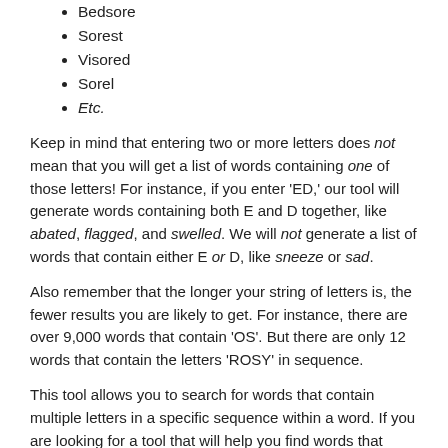Bedsore
Sorest
Visored
Sorel
Etc.
Keep in mind that entering two or more letters does not mean that you will get a list of words containing one of those letters! For instance, if you enter 'ED,' our tool will generate words containing both E and D together, like abated, flagged, and swelled. We will not generate a list of words that contain either E or D, like sneeze or sad.
Also remember that the longer your string of letters is, the fewer results you are likely to get. For instance, there are over 9,000 words that contain 'OS'. But there are only 12 words that contain the letters 'ROSY' in sequence.
This tool allows you to search for words that contain multiple letters in a specific sequence within a word. If you are looking for a tool that will help you find words that contain multiple letters at any location, check out our Wordlist Containing Letters.
Words Within Words in Scrabble